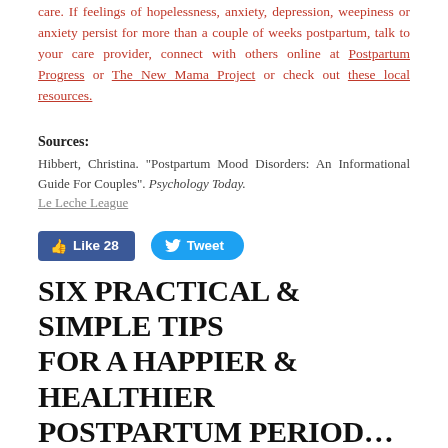care. If feelings of hopelessness, anxiety, depression, weepiness or anxiety persist for more than a couple of weeks postpartum, talk to your care provider, connect with others online at Postpartum Progress or The New Mama Project or check out these local resources.
Sources:
Hibbert, Christina. "Postpartum Mood Disorders: An Informational Guide For Couples". Psychology Today. Le Leche League
[Figure (other): Facebook Like button showing 28 likes, and Twitter Tweet button]
SIX PRACTICAL & SIMPLE TIPS FOR A HAPPIER & HEALTHIER POSTPARTUM PERIOD… (PART